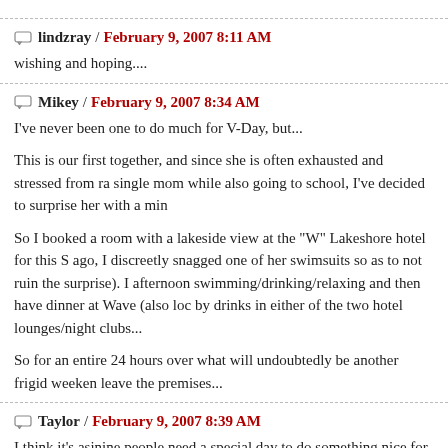lindzray / February 9, 2007 8:11 AM
wishing and hoping....
Mikey / February 9, 2007 8:34 AM
I've never been one to do much for V-Day, but...
This is our first together, and since she is often exhausted and stressed from raising a single mom while also going to school, I've decided to surprise her with a min...
So I booked a room with a lakeside view at the "W" Lakeshore hotel for this S... ago, I discreetly snagged one of her swimsuits so as to not ruin the surprise). I afternoon swimming/drinking/relaxing and then have dinner at Wave (also loc by drinks in either of the two hotel lounges/night clubs...
So for an entire 24 hours over what will undoubtedly be another frigid weeken... leave the premises...
Taylor / February 9, 2007 8:39 AM
I think it's asinine people need a special day to do something nice for their sig...